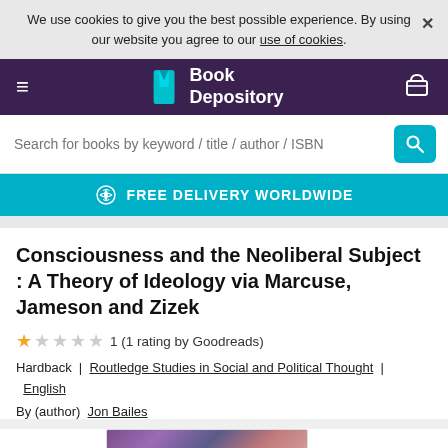We use cookies to give you the best possible experience. By using our website you agree to our use of cookies.
[Figure (logo): Book Depository logo - teal book icon with white text 'Book Depository' on purple navbar]
Search for books by keyword / title / author / ISBN
FREE DELIVERY WORLDWIDE
Consciousness and the Neoliberal Subject : A Theory of Ideology via Marcuse, Jameson and Zizek
1 (1 rating by Goodreads)
Hardback  |  Routledge Studies in Social and Political Thought  |  English
By (author)  Jon Bailes
[Figure (photo): Book cover image with abstract colorful design in purple, pink, and teal tones]